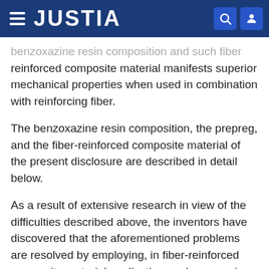JUSTIA
benzoxazine resin composition and such fiber reinforced composite material manifests superior mechanical properties when used in combination with reinforcing fiber.
The benzoxazine resin composition, the prepreg, and the fiber-reinforced composite material of the present disclosure are described in detail below.
As a result of extensive research in view of the difficulties described above, the inventors have discovered that the aforementioned problems are resolved by employing, in fiber-reinforced composite material applications, a benzoxazine resin composition formed by mixing at least one multifunctional benzoxazine resin [A] and at least one epoxy resin [B] having certain structural features.